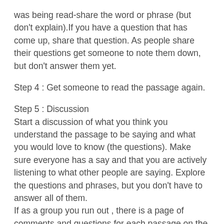was being read-share the word or phrase (but don't explain).If you have a question that has come up, share that question. As people share their questions get someone to note them down, but don't answer them yet.
Step 4 : Get someone to read the passage again.
Step 5 : Discussion
Start a discussion of what you think you understand the passage to be saying and what you would love to know (the questions). Make sure everyone has a say and that you are actively listening to what other people are saying. Explore the questions and phrases, but you don't have to answer all of them.
If as a group you run out , there is a page of comments and questions for each passage on the next page.